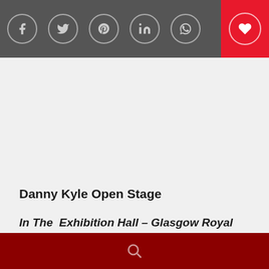[Figure (other): Social media icon bar with Facebook, Twitter, Pinterest, LinkedIn, WhatsApp icons in circles on dark grey background, and a heart icon on red background at right]
Danny Kyle Open Stage
In The  Exhibition Hall – Glasgow Royal Concert Hall
5 – 7pm Monday 26th January 2015
[Figure (other): Dark red footer bar with search icon]